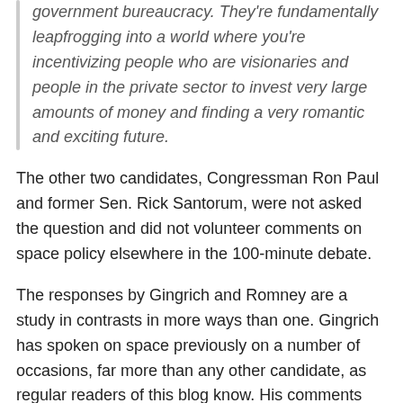government bureaucracy. They're fundamentally leapfrogging into a world where you're incentivizing people who are visionaries and people in the private sector to invest very large amounts of money and finding a very romantic and exciting future.
The other two candidates, Congressman Ron Paul and former Sen. Rick Santorum, were not asked the question and did not volunteer comments on space policy elsewhere in the 100-minute debate.
The responses by Gingrich and Romney are a study in contrasts in more ways than one. Gingrich has spoken on space previously on a number of occasions, far more than any other candidate, as regular readers of this blog know. His comments tonight are very similar to what he's said before, promoting prizes and denigrating NASA bureaucracy. Romney, on the other hand, has said